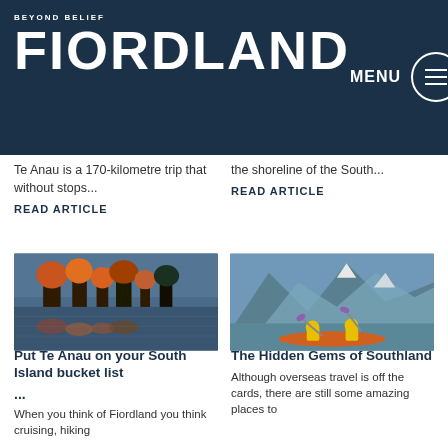BEYOND BELIEF FIORDLAND — MENU
Te Anau is a 170-kilometre trip that without stops...
the shoreline of the South...
READ ARTICLE
READ ARTICLE
[Figure (photo): Autumn trees reflected in a calm lake at dusk]
[Figure (photo): Two kayakers in yellow jackets paddling in front of dramatic mountain scenery]
Put Te Anau on your South Island bucket list
The Hidden Gems of Southland
...
When you think of Fiordland you think cruising, hiking
Although overseas travel is off the cards, there are still some amazing places to